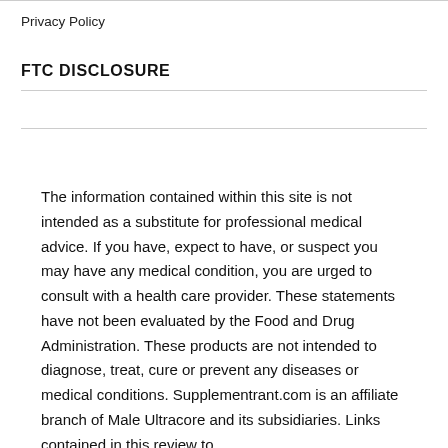Privacy Policy
FTC DISCLOSURE
The information contained within this site is not intended as a substitute for professional medical advice. If you have, expect to have, or suspect you may have any medical condition, you are urged to consult with a health care provider. These statements have not been evaluated by the Food and Drug Administration. These products are not intended to diagnose, treat, cure or prevent any diseases or medical conditions. Supplementrant.com is an affiliate branch of Male Ultracore and its subsidiaries. Links contained in this review to